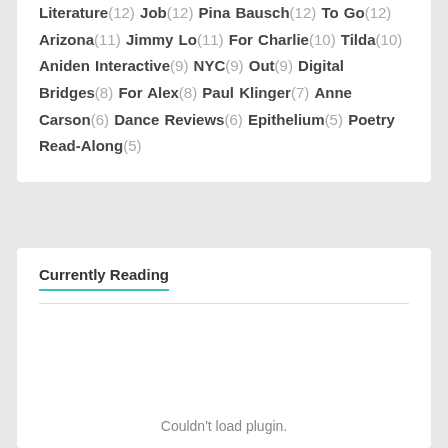Literature(12) Job(12) Pina Bausch(12) To Go(12) Arizona(11) Jimmy Lo(11) For Charlie(10) Tilda(10) Aniden Interactive(9) NYC(9) Out(9) Digital Bridges(8) For Alex(8) Paul Klinger(7) Anne Carson(6) Dance Reviews(6) Epithelium(5) Poetry Read-Along(5)
Currently Reading
Couldn't load plugin.